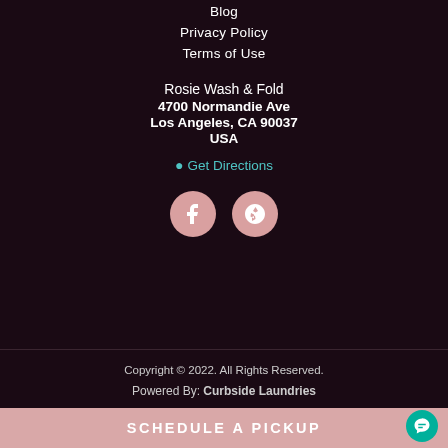Blog
Privacy Policy
Terms of Use
Rosie Wash & Fold
4700 Normandie Ave
Los Angeles, CA 90037
USA
Get Directions
[Figure (logo): Facebook and Yelp social media icon circles in pink/mauve color]
Copyright © 2022. All Rights Reserved.
Powered By: Curbside Laundries
SCHEDULE A PICKUP